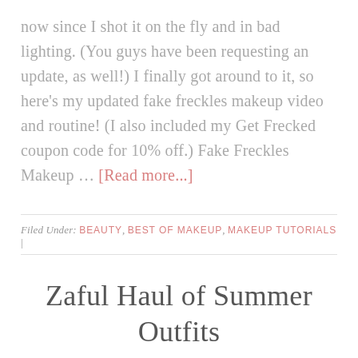now since I shot it on the fly and in bad lighting. (You guys have been requesting an update, as well!) I finally got around to it, so here's my updated fake freckles makeup video and routine! (I also included my Get Frecked coupon code for 10% off.) Fake Freckles Makeup … [Read more...]
Filed Under: BEAUTY, BEST OF MAKEUP, MAKEUP TUTORIALS |
Zaful Haul of Summer Outfits & Swimsuits!